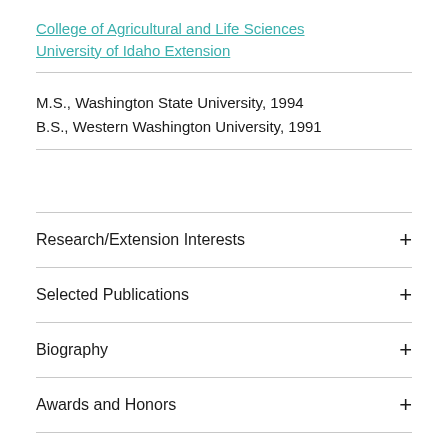College of Agricultural and Life Sciences
University of Idaho Extension
M.S., Washington State University, 1994
B.S., Western Washington University, 1991
Research/Extension Interests
Selected Publications
Biography
Awards and Honors